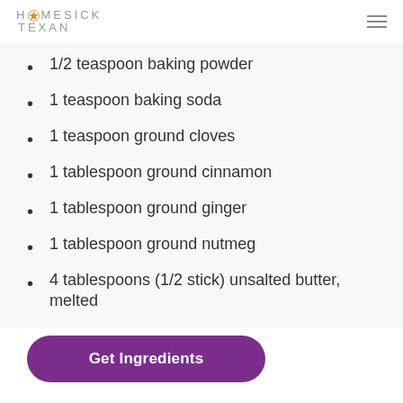HOMESICK TEXAN
1/2 teaspoon baking powder
1 teaspoon baking soda
1 teaspoon ground cloves
1 tablespoon ground cinnamon
1 tablespoon ground ginger
1 tablespoon ground nutmeg
4 tablespoons (1/2 stick) unsalted butter, melted
Get Ingredients